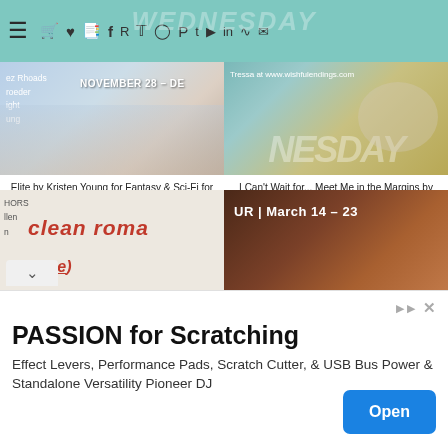[Figure (screenshot): Navigation bar with teal background, hamburger menu, social media icons, and partially visible logo text]
[Figure (photo): Book cover image for Elite by Kristen Young, November 28 - December dates visible, winter branch background]
Elite by Kristen Young for Fantasy & Sci-Fi for Christmas (Excerpt & #Giveaway) #fantasyforChristmas21 #yalit #yabooks #scifibooks @prismbooktours
[Figure (photo): Can't Wait Wednesday banner with clock/pocket watch on teal background, wishfulendings.com]
I Can't Wait for... Meet Me in the Margins by Melissa Ferguson (Can't-Wait Wednesday/Waiting on Wednesday) #CWW #WOW #romancebooks #cleanromance #romcom @ThomasNelson
[Figure (photo): Clean romance book tour banner with red italic text on cream background]
[Figure (photo): Book tour image with dark brown background, UR March 14-23 text]
[Figure (screenshot): Advertisement: PASSION for Scratching - Effect Levers, Performance Pads, Scratch Cutter & USB Bus Power & Standalone Versatility Pioneer DJ, with Open button]